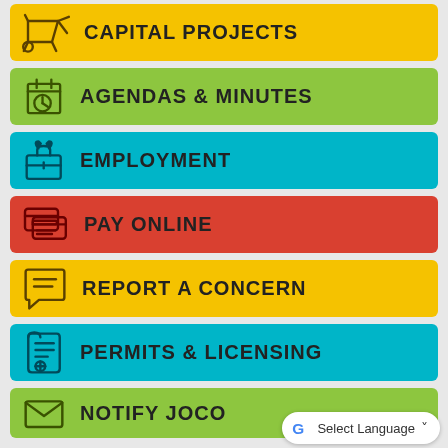CAPITAL PROJECTS
AGENDAS & MINUTES
EMPLOYMENT
PAY ONLINE
REPORT A CONCERN
PERMITS & LICENSING
NOTIFY JOCO
Select Language